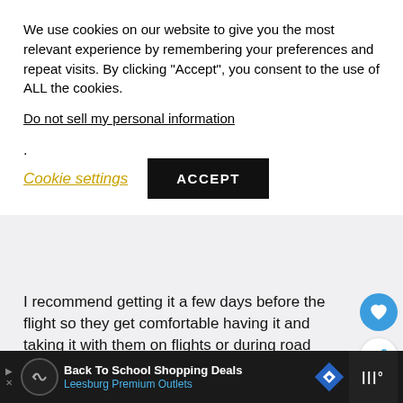We use cookies on our website to give you the most relevant experience by remembering your preferences and repeat visits. By clicking “Accept”, you consent to the use of ALL the cookies.
Do not sell my personal information.
Cookie settings
ACCEPT
[Figure (screenshot): Gray advertisement placeholder banner]
I recommend getting it a few days before the flight so they get comfortable having it and taking it with them on flights or during road trips. Many little ones fall in love with this pillow pet.
Back To School Shopping Deals
Leesburg Premium Outlets